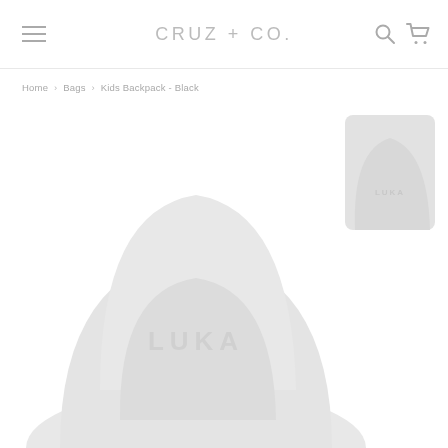CRUZ + CO.
Home › Bags › Kids Backpack - Black
[Figure (photo): Product photo of a light gray kids backpack with the name LUKA embossed on the front panel. The backpack has a rounded arch shape. A smaller thumbnail of the same backpack is visible in the upper right corner of the image area.]